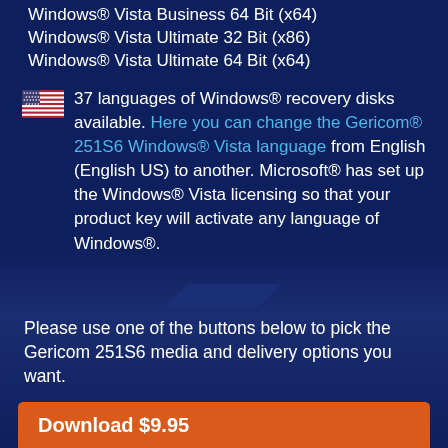Windows® Vista Business 64 Bit (x64)
Windows® Vista Ultimate 32 Bit (x86)
Windows® Vista Ultimate 64 Bit (x64)
🇺🇸 37 languages of Windows® recovery disks available. Here you can change the Gericom® 251S6 Windows® Vista language from English (English US) to another. Microsoft® has set up the Windows® Vista licensing so that your product key will activate any language of Windows®.
Please use one of the buttons below to pick the Gericom 251S6 media and delivery options you want.
You can select the Windows® Vista edition and bit type at the next stage.
Download $9.95